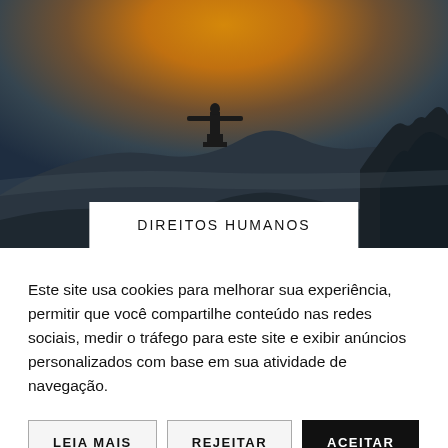[Figure (photo): Photo of Christ the Redeemer statue on Corcovado mountain in Rio de Janeiro at sunset/dusk, with a warm golden-orange sky and dark mountain silhouettes. A white label bar at the bottom center reads 'DIREITOS HUMANOS'.]
Este site usa cookies para melhorar sua experiência, permitir que você compartilhe conteúdo nas redes sociais, medir o tráfego para este site e exibir anúncios personalizados com base em sua atividade de navegação.
LEIA MAIS
REJEITAR
ACEITAR